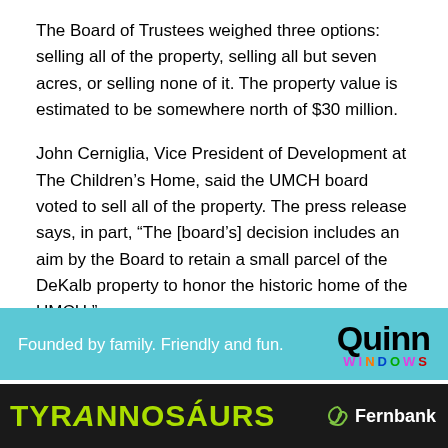The Board of Trustees weighed three options: selling all of the property, selling all but seven acres, or selling none of it. The property value is estimated to be somewhere north of $30 million.
John Cerniglia, Vice President of Development at The Children’s Home, said the UMCH board voted to sell all of the property. The press release says, in part, “The [board’s] decision includes an aim by the Board to retain a small parcel of the DeKalb property to honor the historic home of the UMCH.”
[Figure (other): Advertisement for Quinn Windows with cyan/turquoise background. Left side text: 'Founded by family. Friendly and fun.' Right side shows 'Quinn' in large bold black text and 'WINDOWS' in multicolored letters below.]
[Figure (other): Advertisement for Fernbank museum featuring 'TYRANNOSAURUS' text in yellow-green on dark background with dinosaur imagery, and Fernbank logo on the right.]